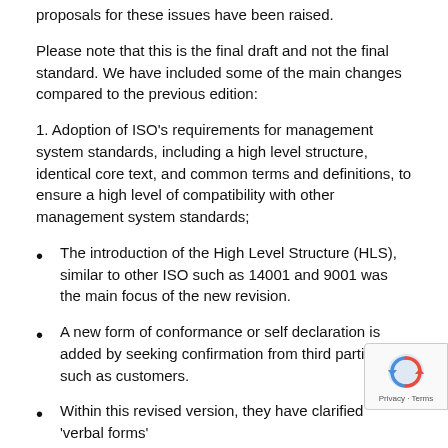proposals for these issues have been raised.
Please note that this is the final draft and not the final standard. We have included some of the main changes compared to the previous edition:
1. Adoption of ISO's requirements for management system standards, including a high level structure, identical core text, and common terms and definitions, to ensure a high level of compatibility with other management system standards;
The introduction of the High Level Structure (HLS), similar to other ISO such as 14001 and 9001 was the main focus of the new revision.
A new form of conformance or self declaration is added by seeking confirmation from third parties such as customers.
Within this revised version, they have clarified 'verbal forms' "shall" indicates a requirement;